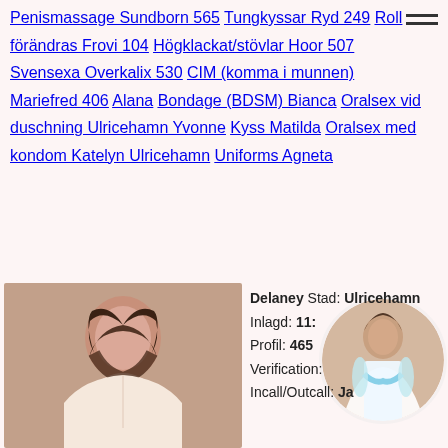Penismassage Sundborn 565 Tungkyssar Ryd 249 Roll förändras Frovi 104 Högklackat/stövlar Hoor 507 Svensexa Overkalix 530 CIM (komma i munnen) Mariefred 406 Alana Bondage (BDSM) Bianca Oralsex vid duschning Ulricehamn Yvonne Kyss Matilda Oralsex med kondom Katelyn Ulricehamn Uniforms Agneta
[Figure (photo): Photo of a young woman with long dark hair, wearing a white outfit, photographed from behind/side]
[Figure (photo): Circular overlay photo of a woman in white swimwear posing]
Delaney Stad: Ulricehamn Inlagd: 11: Profil: 465 Verification: Incall/Outcall: Ja